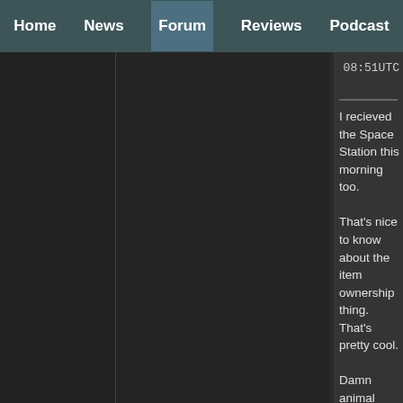Home | News | Forum | Reviews | Podcast
08:51UTC
I recieved the Space Station this morning too.

That's nice to know about the item ownership thing. That's pretty cool.

Damn animal tracks. According to that thread,